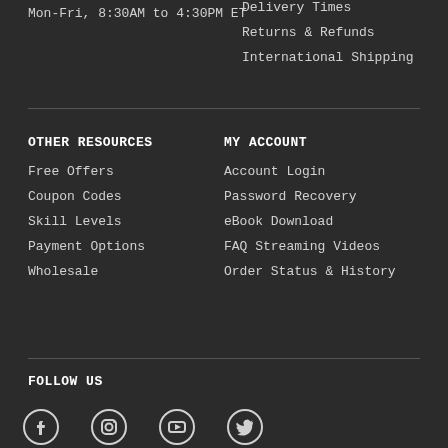Mon-Fri, 8:30AM to 4:30PM ET
Delivery Times
Returns & Refunds
International Shipping
OTHER RESOURCES
Free Offers
Coupon Codes
Skill Levels
Payment Options
Wholesale
MY ACCOUNT
Account Login
Password Recovery
eBook Download
FAQ Streaming Videos
Order Status & History
FOLLOW US
[Figure (illustration): Social media icons: Facebook, Instagram, YouTube, Twitter]